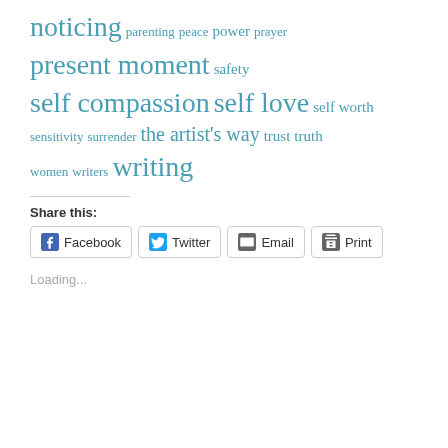noticing parenting peace power prayer present moment safety self compassion self love self worth sensitivity surrender the artist's way trust truth women writers writing
Share this:
Facebook Twitter Email Print
Loading...